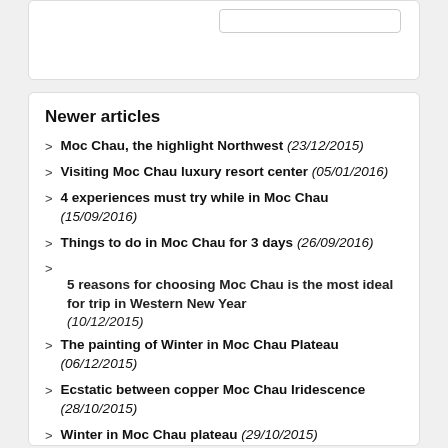Newer articles
Moc Chau, the highlight Northwest (23/12/2015)
Visiting Moc Chau luxury resort center (05/01/2016)
4 experiences must try while in Moc Chau (15/09/2016)
Things to do in Moc Chau for 3 days (26/09/2016)
5 reasons for choosing Moc Chau is the most ideal for trip in Western New Year (10/12/2015)
The painting of Winter in Moc Chau Plateau (06/12/2015)
Ecstatic between copper Moc Chau Iridescence (28/10/2015)
Winter in Moc Chau plateau (29/10/2015)
THIS SEASON DAI YEM IS VERY BEAUTYFUL! (03/11/2015)